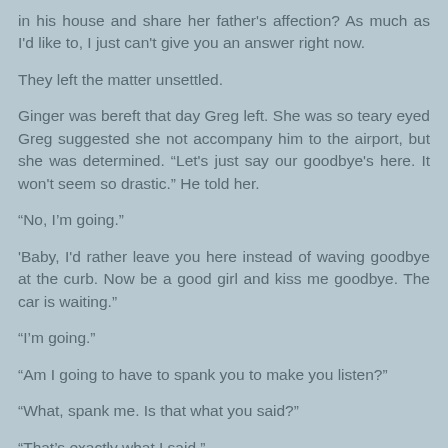in his house and share her father's affection?  As much as I'd like to, I just can't give you an answer right now.
They left the matter unsettled.
Ginger was bereft that day Greg left.  She was so teary eyed Greg suggested she not accompany him to the airport, but she was determined. “Let's just say our goodbye's here.  It won't seem so drastic.” He told her.
“No, I’m going.”
'Baby, I'd rather leave you here instead of waving goodbye at the curb.  Now be a good girl and kiss me goodbye.  The car is waiting.”
“I’m going.”
“Am I going to have to spank you to make you listen?”
“What, spank me.  Is that what you said?”
“That’s exactly what I said.”